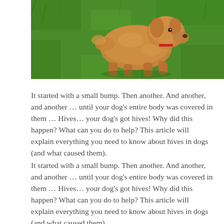[Figure (photo): A fluffy golden/reddish-brown dog (likely a doodle or poodle mix) running or playing on bright green grass, viewed from above at an angle. The dog appears to be wearing a red collar.]
It started with a small bump. Then another. And another, and another … until your dog's entire body was covered in them … Hives… your dog's got hives! Why did this happen? What can you do to help? This article will explain everything you need to know about hives in dogs (and what caused them).
It started with a small bump. Then another. And another, and another … until your dog's entire body was covered in them … Hives… your dog's got hives! Why did this happen? What can you do to help? This article will explain everything you need to know about hives in dogs (and what caused them).